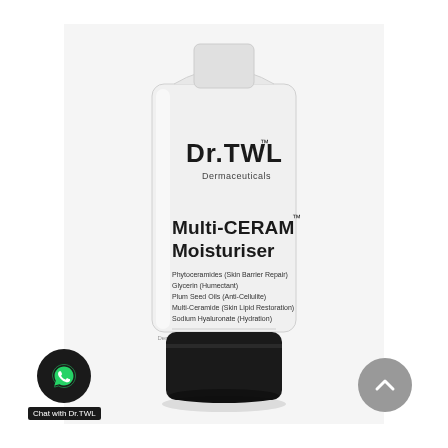[Figure (photo): A white squeeze tube product with black cap. Brand: Dr.TWL Dermaceuticals. Product name: Multi-CERAM Moisturiser with TM mark. Ingredients listed: Phytoceramides (Skin Barrier Repair), Glycerin (Humectant), Plum Seed Oils (Anti-Cellulite), Multi-Ceramide (Skin Lipid Restoration), Sodium Hyaluronate (Hydration). Text at bottom: Dermatologist Formulated in Korea.]
[Figure (logo): WhatsApp contact button - black circle with WhatsApp icon, label: Chat with Dr.TWL]
[Figure (other): Scroll-to-top button - grey circle with upward chevron arrow]